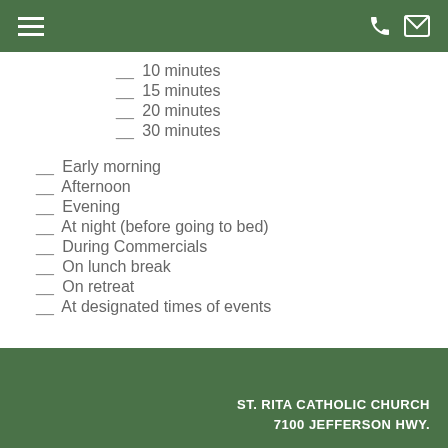Navigation header with hamburger menu, phone icon, and email icon
__ 10 minutes
__ 15 minutes
__ 20 minutes
__ 30 minutes
__ Early morning
__ Afternoon
__ Evening
__ At night (before going to bed)
__ During Commercials
__ On lunch break
__ On retreat
__ At designated times of events
ST. RITA CATHOLIC CHURCH
7100 JEFFERSON HWY.